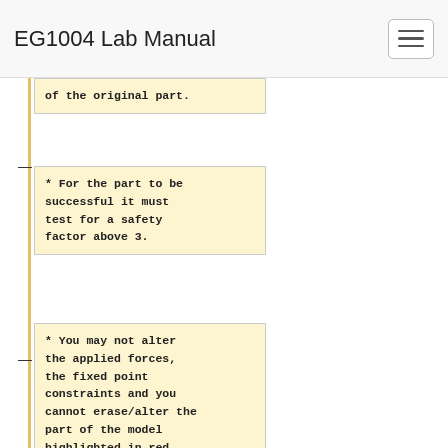EG1004 Lab Manual
of the original part.
* For the part to be successful it must test for a safety factor above 3.
* You may not alter the applied forces, the fixed point constraints and you cannot erase/alter the part of the model highlighted in red only add supports. It is important that the thickness of the base is not altered as you are not learning by doing this and you are